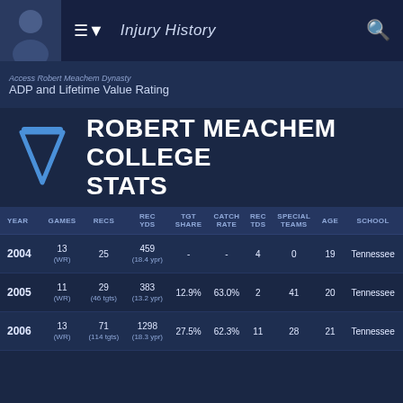Injury History
Access Robert Meachem Dynasty ADP and Lifetime Value Rating
ROBERT MEACHEM COLLEGE STATS
| YEAR | GAMES | RECS | REC YDS | TGT SHARE | CATCH RATE | REC TDS | SPECIAL TEAMS | AGE | SCHOOL |
| --- | --- | --- | --- | --- | --- | --- | --- | --- | --- |
| 2004 | 13 (WR) | 25 | 459 (18.4 ypr) | - | - | 4 | 0 | 19 | Tennessee |
| 2005 | 11 (WR) | 29 (46 tgts) | 383 (13.2 ypr) | 12.9% | 63.0% | 2 | 41 | 20 | Tennessee |
| 2006 | 13 (WR) | 71 (114 tgts) | 1298 (18.3 ypr) | 27.5% | 62.3% | 11 | 28 | 21 | Tennessee |